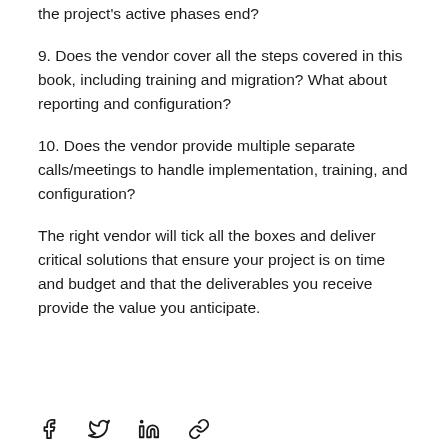the project's active phases end?
9. Does the vendor cover all the steps covered in this book, including training and migration? What about reporting and configuration?
10. Does the vendor provide multiple separate calls/meetings to handle implementation, training, and configuration?
The right vendor will tick all the boxes and deliver critical solutions that ensure your project is on time and budget and that the deliverables you receive provide the value you anticipate.
[Figure (other): Social sharing icons: Facebook, Twitter, LinkedIn, and a link/chain icon]